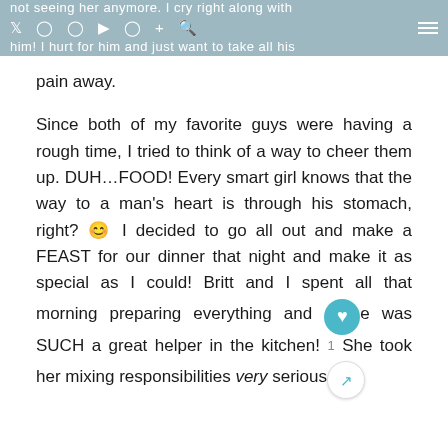not seeing her anymore. I cry right along with him! I hurt for him and just want to take all his pain away.
pain away.
Since both of my favorite guys were having a rough time, I tried to think of a way to cheer them up. DUH…FOOD! Every smart girl knows that the way to a man's heart is through his stomach, right? 😊 I decided to go all out and make a FEAST for our dinner that night and make it as special as I could! Britt and I spent all that morning preparing everything and she was SUCH a great helper in the kitchen! She took her mixing responsibilities very serious